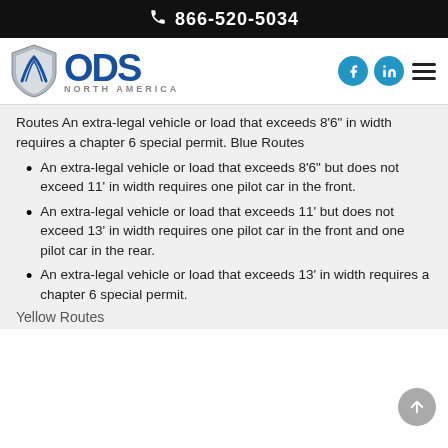866-520-5034
[Figure (logo): ODS North America logo with shield icon, social media icons (Facebook, LinkedIn), and hamburger menu]
Routes An extra-legal vehicle or load that exceeds 8'6" in width requires a chapter 6 special permit. Blue Routes
An extra-legal vehicle or load that exceeds 8'6" but does not exceed 11' in width requires one pilot car in the front.
An extra-legal vehicle or load that exceeds 11' but does not exceed 13' in width requires one pilot car in the front and one pilot car in the rear.
An extra-legal vehicle or load that exceeds 13' in width requires a chapter 6 special permit.
Yellow Routes